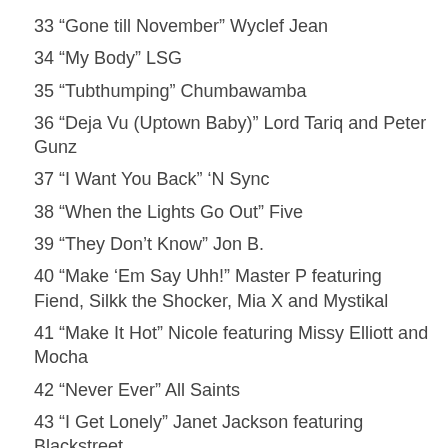33 “Gone till November” Wyclef Jean
34 “My Body” LSG
35 “Tubthumping” Chumbawamba
36 “Deja Vu (Uptown Baby)” Lord Tariq and Peter Gunz
37 “I Want You Back” ‘N Sync
38 “When the Lights Go Out” Five
39 “They Don’t Know” Jon B.
40 “Make ‘Em Say Uhh!” Master P featuring Fiend, Silkk the Shocker, Mia X and Mystikal
41 “Make It Hot” Nicole featuring Missy Elliott and Mocha
42 “Never Ever” All Saints
43 “I Get Lonely” Janet Jackson featuring Blackstreet
44 “Feel So Good” Mase featuring Kelly Price
45 “Say It” Voices of Theory
46 “Kiss the Rain” Billie Myers
47 “Come with Me” Puff Daddy featuring Jimmy Page